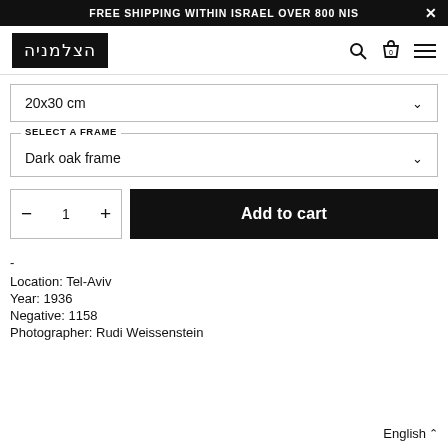FREE SHIPPING WITHIN ISRAEL OVER 800 NIS
[Figure (logo): HaTzalmani logo in Hebrew inside a black-bordered rectangle]
20x30 cm
SELECT A FRAME
Dark oak frame
1
Add to cart
-
Location: Tel-Aviv
Year: 1936
Negative: 1158
Photographer: Rudi Weissenstein
English